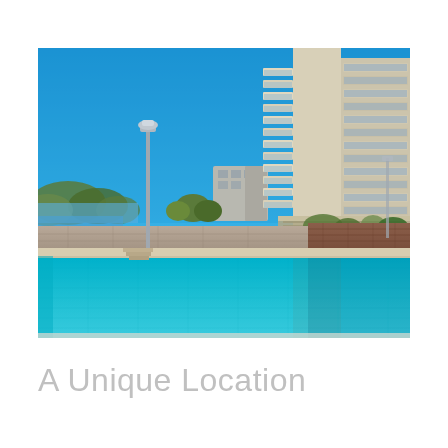[Figure (photo): Outdoor infinity swimming pool at a modern luxury residential apartment complex. A tall multi-storey building with white balconies and glass railings dominates the right side. The pool reflects the clear blue sky. Stone retaining walls and lush greenery are visible in the background. A street light pole is visible on the left.]
A Unique Location